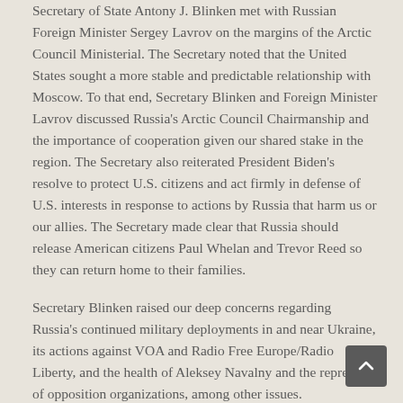Secretary of State Antony J. Blinken met with Russian Foreign Minister Sergey Lavrov on the margins of the Arctic Council Ministerial.  The Secretary noted that the United States sought a more stable and predictable relationship with Moscow.  To that end, Secretary Blinken and Foreign Minister Lavrov discussed Russia's Arctic Council Chairmanship and the importance of cooperation given our shared stake in the region.  The Secretary also reiterated President Biden's resolve to protect U.S. citizens and act firmly in defense of U.S. interests in response to actions by Russia that harm us or our allies.  The Secretary made clear that Russia should release American citizens Paul Whelan and Trevor Reed so they can return home to their families.
Secretary Blinken raised our deep concerns regarding Russia's continued military deployments in and near Ukraine, its actions against VOA and Radio Free Europe/Radio Liberty, and the health of Aleksey Navalny and the repression of opposition organizations, among other issues.
The Secretary underscored the imperative of ensuring